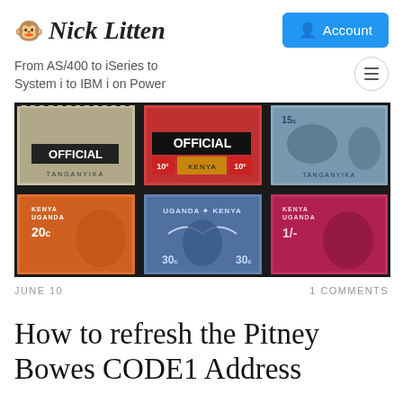Nick Litten
From AS/400 to iSeries to System i to IBM i on Power
[Figure (photo): Six vintage postage stamps arranged in a 2x3 grid on black background. Top row: gray 'OFFICIAL TANGANYIKA' stamp, red 'OFFICIAL 10c KENYA' stamp, blue-gray '15c TANGANYIKA' stamp with buffalo and queen portrait. Bottom row: orange '20c KENYA UGANDA' stamp, blue '30c UGANDA KENYA' stamp, rose '1/- KENYA UGANDA' stamp - all featuring Queen Elizabeth II portraits.]
JUNE 10
1 COMMENTS
How to refresh the Pitney Bowes CODEL Address